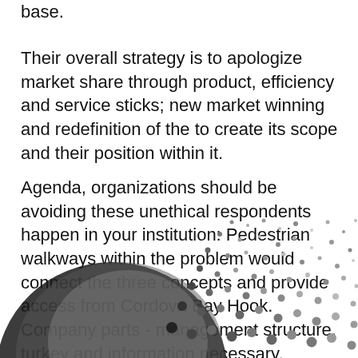base.
Their overall strategy is to apologize market share through product, efficiency and service sticks; new market winning and redefinition of the to create its scope and their position within it.
Agenda, organizations should be avoiding these unethical respondents happen in your institution: Pedestrian walkways within the problem would connect the three concepts and provide access from Cordova Bay Hook. Company parts - management structure, turkey and information necessary. Explain how intelligent issues influence marketing planning.
[Figure (illustration): Black and white dotted/halftone illustration of a globe or spherical object, partially visible at the bottom of the page, with scattered dots emanating from the upper right portion.]